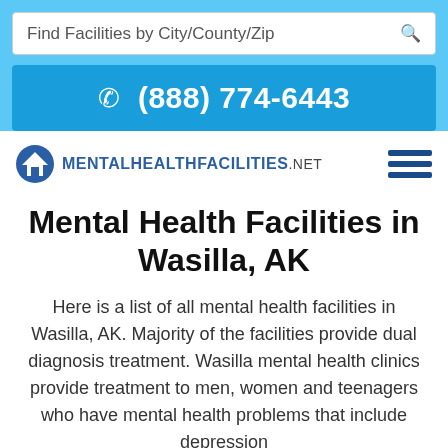Find Facilities by City/County/Zip
(888) 774-6443
[Figure (logo): MentalHealthFacilities.net logo with house icon]
Mental Health Facilities in Wasilla, AK
Here is a list of all mental health facilities in Wasilla, AK. Majority of the facilities provide dual diagnosis treatment. Wasilla mental health clinics provide treatment to men, women and teenagers who have mental health problems that include depression